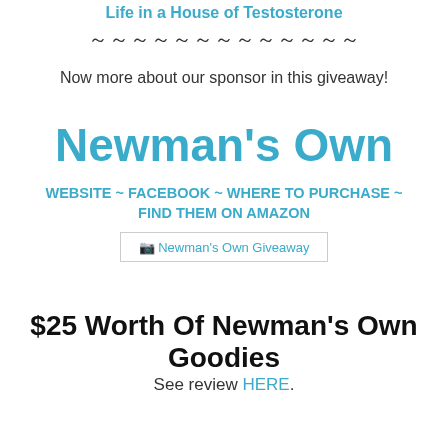Life in a House of Testosterone
~~~~~~~~~~~~~~~~
Now more about our sponsor in this giveaway!
Newman's Own
WEBSITE ~ FACEBOOK ~ WHERE TO PURCHASE ~ FIND THEM ON AMAZON
[Figure (other): Newman's Own Giveaway image placeholder with broken image icon and alt text]
$25 Worth Of Newman's Own Goodies
See review HERE.